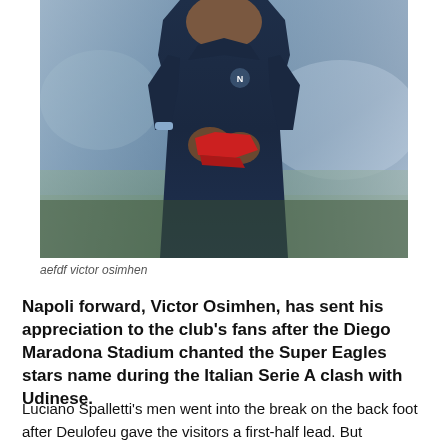[Figure (photo): Victor Osimhen, Napoli forward, wearing a dark navy blue Napoli training jacket, looking downward, holding something red in his hands. Blurred stadium background.]
aefdf victor osimhen
Napoli forward, Victor Osimhen, has sent his appreciation to the club's fans after the Diego Maradona Stadium chanted the Super Eagles stars name during the Italian Serie A clash with Udinese.
Luciano Spalletti's men went into the break on the back foot after Deulofeu gave the visitors a first-half lead. But Osimhen powered home a header to equalise in the 52nd